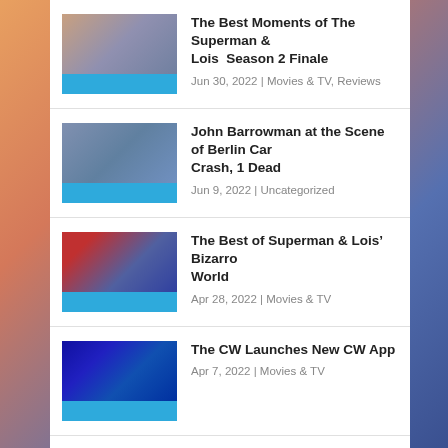The Best Moments of The Superman & Lois Season 2 Finale
Jun 30, 2022 | Movies & TV, Reviews
John Barrowman at the Scene of Berlin Car Crash, 1 Dead
Jun 9, 2022 | Uncategorized
The Best of Superman & Lois’ Bizarro World
Apr 28, 2022 | Movies & TV
The CW Launches New CW App
Apr 7, 2022 | Movies & TV
Supergirl: Sixth Season Released on Blu-ray & DVD March 8, 2022
Dec 14, 2021 | Movies & TV